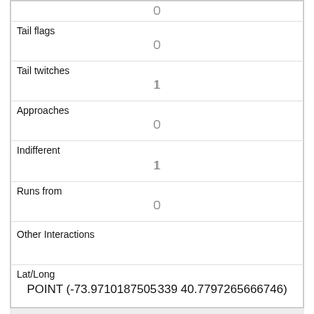|  | 0 |
| Tail flags | 0 |
| Tail twitches | 1 |
| Approaches | 0 |
| Indifferent | 1 |
| Runs from | 0 |
| Other Interactions |  |
| Lat/Long | POINT (-73.9710187505339 40.7797265666746) |
| Link | 1939 |
| rowid | 1939 |
| longitude |  |